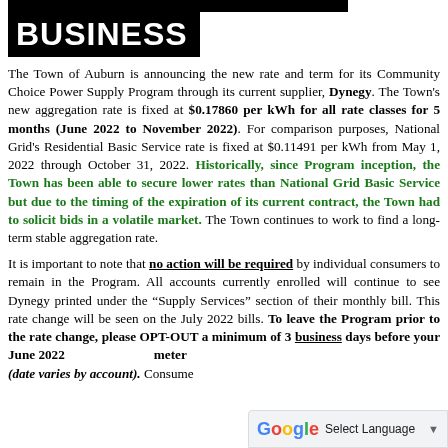BUSINESS
The Town of Auburn is announcing the new rate and term for its Community Power Supply Program through its current supplier, Dynegy. The Town's new aggregation rate is fixed at $0.17860 per kWh for all rate classes for 5 months (June 2022 to November 2022). For comparison purposes, National Grid's Residential Basic Service rate is fixed at $0.11491 per kWh from May 1, 2022 through October 31, 2022. Historically, since Program inception, the Town has been able to secure lower rates than National Grid Basic Service but due to the timing of the expiration of its current contract, the Town had to solicit bids in a volatile market. The Town continues to work to find a long-term stable aggregation rate.
It is important to note that no action will be required by individual consumers to remain in the Program. All accounts currently enrolled will continue to see Dynegy printed under the "Supply Services" section of their monthly bill. This rate change will be seen on the July 2022 bills. To leave the Program prior to the rate change, please OPT-OUT a minimum of 3 business days before your June 2022 meter (date varies by account). Consume